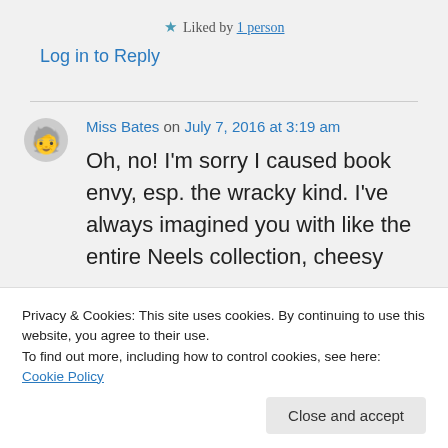★ Liked by 1 person
Log in to Reply
Miss Bates on July 7, 2016 at 3:19 am
Oh, no! I'm sorry I caused book envy, esp. the wracky kind. I've always imagined you with like the entire Neels collection, cheesy
Privacy & Cookies: This site uses cookies. By continuing to use this website, you agree to their use.
To find out more, including how to control cookies, see here: Cookie Policy
Close and accept
the covers. And I have them in e